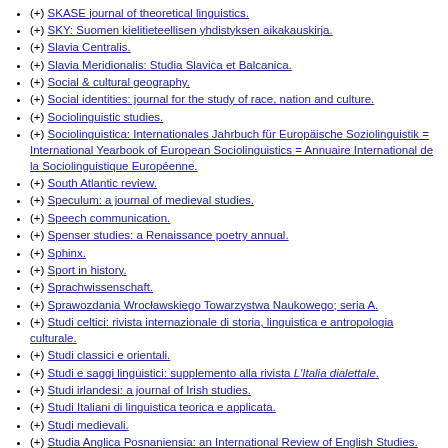(+) SKASE journal of theoretical linguistics.
(+) SKY: Suomen kielitieteellisen yhdistyksen aikakauskirja.
(+) Slavia Centralis.
(+) Slavia Meridionalis: Studia Slavica et Balcanica.
(+) Social & cultural geography.
(+) Social identities: journal for the study of race, nation and culture.
(+) Sociolinguistic studies.
(+) Sociolinguistica: Internationales Jahrbuch für Europäische Soziolinguistik = International Yearbook of European Sociolinguistics = Annuaire International de la Sociolinguistique Européenne.
(+) South Atlantic review.
(+) Speculum: a journal of medieval studies.
(+) Speech communication.
(+) Spenser studies: a Renaissance poetry annual.
(+) Sphinx.
(+) Sport in history.
(+) Sprachwissenschaft.
(+) Sprawozdania Wrocławskiego Towarzystwa Naukowego; seria A.
(+) Studi celtici: rivista internazionale di storia, linguistica e antropologia culturale.
(+) Studi classici e orientali.
(+) Studi e saggi linguistici: supplemento alla rivista L'Italia dialettale.
(+) Studi irlandesi: a journal of Irish studies.
(+) Studi Italiani di linguistica teorica e applicata.
(+) Studi medievali.
(+) Studia Anglica Posnaniensia: an International Review of English Studies.
(+) Studia Celtica.